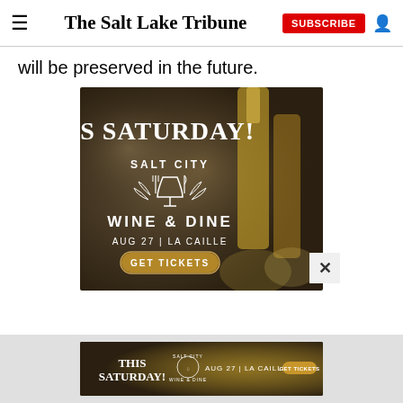The Salt Lake Tribune
will be preserved in the future.
[Figure (illustration): Advertisement for Salt City Wine & Dine event. Text reads: THIS SATURDAY! SALT CITY WINE & DINE AUG 27 | LA CAILLE GET TICKETS. Background shows champagne bottles and glasses.]
[Figure (illustration): Bottom banner ad for Salt City Wine & Dine: THIS SATURDAY! SALT CITY WINE & DINE AUG 27 | LA CAILLE GET TICKETS]